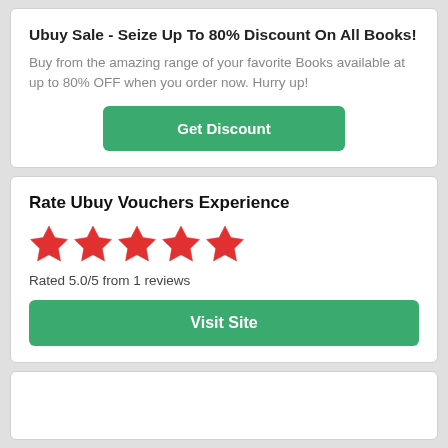Ubuy Sale - Seize Up To 80% Discount On All Books!
Buy from the amazing range of your favorite Books available at up to 80% OFF when you order now. Hurry up!
Get Discount
Rate Ubuy Vouchers Experience
[Figure (other): Five red star rating icons]
Rated 5.0/5 from 1 reviews
Visit Site